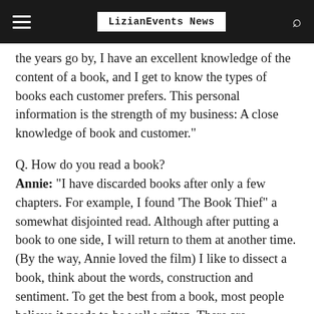LizianEvents News
the years go by, I have an excellent knowledge of the content of a book, and I get to know the types of books each customer prefers. This personal information is the strength of my business: A close knowledge of book and customer."
Q. How do you read a book?
Annie: “I have discarded books after only a few chapters. For example, I found ‘The Book Thief” a somewhat disjointed read. Although after putting a book to one side, I will return to them at another time. (By the way, Annie loved the film) I like to dissect a book, think about the words, construction and sentiment. To get the best from a book, most people believe it needs to be well written. There are exceptions to every rule, for example, a book recommended by a respected reviewer may be